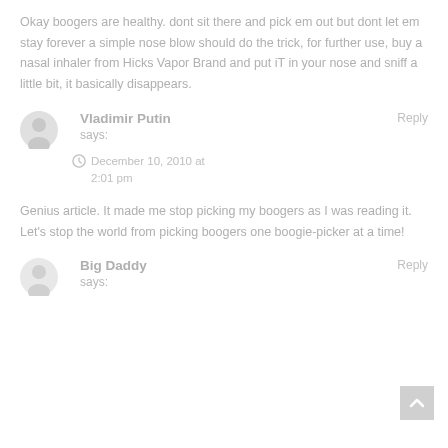Okay boogers are healthy. dont sit there and pick em out but dont let em stay forever a simple nose blow should do the trick, for further use, buy a nasal inhaler from Hicks Vapor Brand and put iT in your nose and sniff a little bit, it basically disappears.
Vladimir Putin says:
Reply
December 10, 2010 at 2:01 pm
Genius article. It made me stop picking my boogers as I was reading it. Let's stop the world from picking boogers one boogie-picker at a time!
Big Daddy says:
Reply